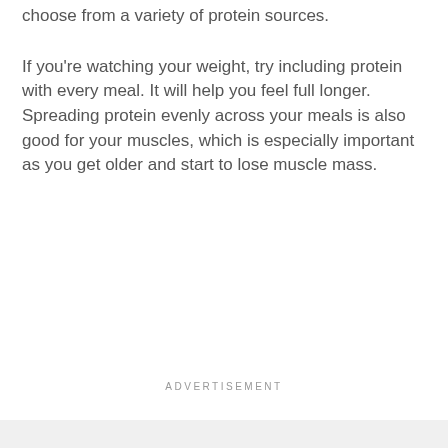choose from a variety of protein sources.
If you're watching your weight, try including protein with every meal. It will help you feel full longer. Spreading protein evenly across your meals is also good for your muscles, which is especially important as you get older and start to lose muscle mass.
ADVERTISEMENT